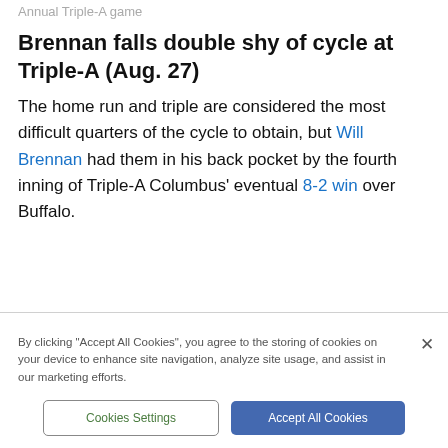Annual Triple-A game
Brennan falls double shy of cycle at Triple-A (Aug. 27)
The home run and triple are considered the most difficult quarters of the cycle to obtain, but Will Brennan had them in his back pocket by the fourth inning of Triple-A Columbus' eventual 8-2 win over Buffalo.
By clicking "Accept All Cookies", you agree to the storing of cookies on your device to enhance site navigation, analyze site usage, and assist in our marketing efforts.
Cookies Settings | Accept All Cookies